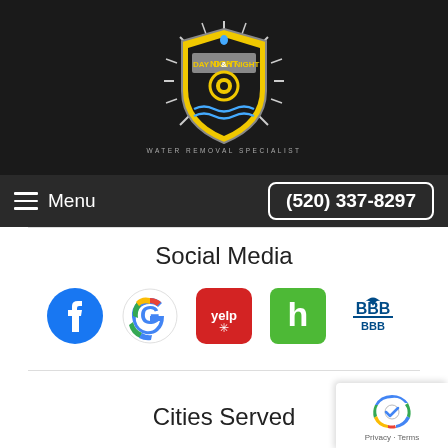[Figure (logo): Day & Night Water Removal Specialist shield logo with yellow and black colors, sun rays emanating from behind shield]
WATER REMOVAL SPECIALIST
Menu
(520) 337-8297
Social Media
[Figure (logo): Facebook logo - blue circle with white 'f']
[Figure (logo): Google logo - colorful G]
[Figure (logo): Yelp logo - red rounded square with white 'yelp*' text]
[Figure (logo): Houzz logo - green square with white 'h' letter]
[Figure (logo): BBB (Better Business Bureau) logo]
Cities Served